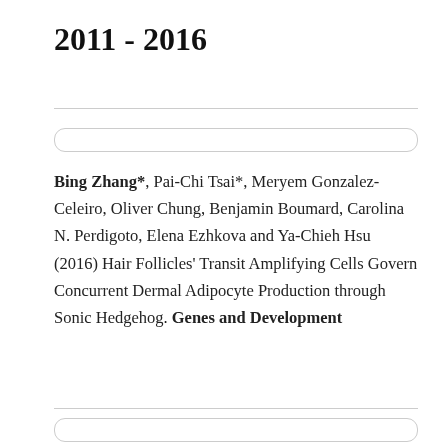2011 - 2016
Bing Zhang*, Pai-Chi Tsai*, Meryem Gonzalez-Celeiro, Oliver Chung, Benjamin Boumard, Carolina N. Perdigoto, Elena Ezhkova and Ya-Chieh Hsu (2016) Hair Follicles' Transit Amplifying Cells Govern Concurrent Dermal Adipocyte Production through Sonic Hedgehog. Genes and Development